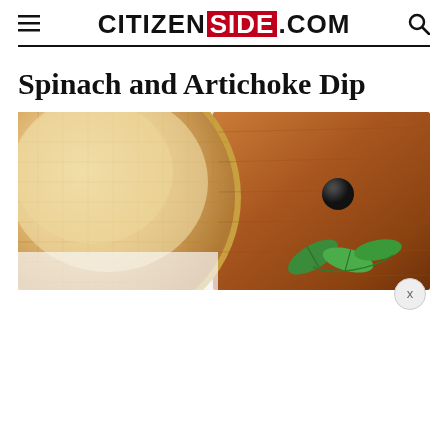CITIZENSIDE.COM
Spinach and Artichoke Dip
[Figure (photo): A wicker basket with flatbread/tortilla chips visible, next to a wooden cutting board with a black olive and fresh mint leaves, partially cropped food styling photo with an X close button in bottom right]